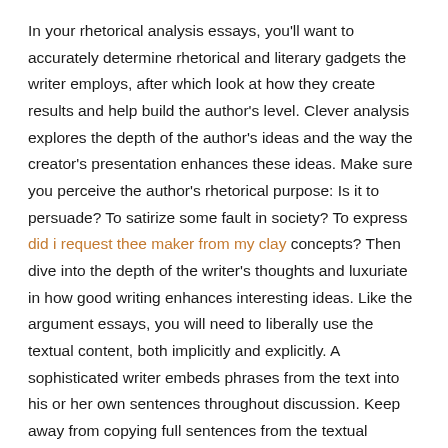In your rhetorical analysis essays, you'll want to accurately determine rhetorical and literary gadgets the writer employs, after which look at how they create results and help build the author's level. Clever analysis explores the depth of the author's ideas and the way the creator's presentation enhances these ideas. Make sure you perceive the author's rhetorical purpose: Is it to persuade? To satirize some fault in society? To express did i request thee maker from my clay concepts? Then dive into the depth of the writer's thoughts and luxuriate in how good writing enhances interesting ideas. Like the argument essays, you will need to liberally use the textual content, both implicitly and explicitly. A sophisticated writer embeds phrases from the text into his or her own sentences throughout discussion. Keep away from copying full sentences from the textual content; select simply the precise word or phrase that fits your purpose and analyze it inside your individual sentences.